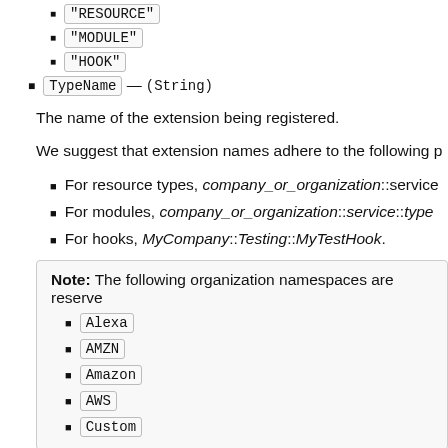"RESOURCE"
"MODULE"
"HOOK"
TypeName — (String)
The name of the extension being registered.
We suggest that extension names adhere to the following p
For resource types, company_or_organization::service
For modules, company_or_organization::service::type
For hooks, MyCompany::Testing::MyTestHook.
Note: The following organization namespaces are reserve
Alexa
AMZN
Amazon
AWS
Custom